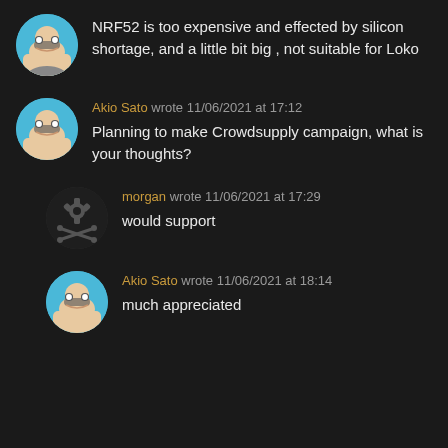NRF52 is too expensive and effected by silicon shortage, and a little bit big , not suitable for Loko
Akio Sato wrote 11/06/2021 at 17:12
Planning to make Crowdsupply campaign, what is your thoughts?
morgan wrote 11/06/2021 at 17:29
would support
Akio Sato wrote 11/06/2021 at 18:14
much appreciated